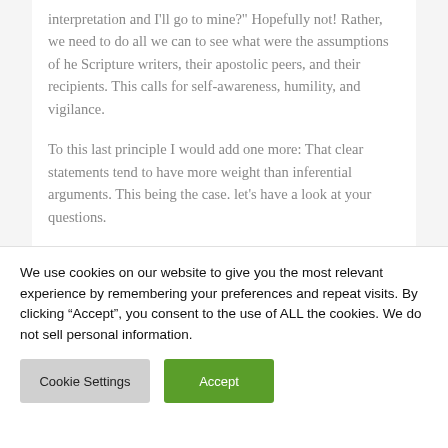interpretation and I'll go to mine?" Hopefully not! Rather, we need to do all we can to see what were the assumptions of he Scripture writers, their apostolic peers, and their recipients. This calls for self-awareness, humility, and vigilance.
To this last principle I would add one more: That clear statements tend to have more weight than inferential arguments. This being the case. let's have a look at your questions.
FIrst, the Matthew 23 text and the Acts 21 text which you
We use cookies on our website to give you the most relevant experience by remembering your preferences and repeat visits. By clicking “Accept”, you consent to the use of ALL the cookies. We do not sell personal information.